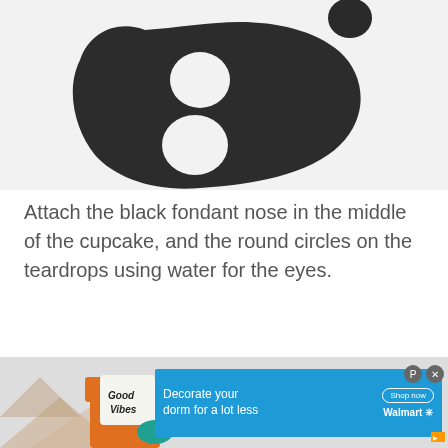[Figure (photo): Black fondant nose shape (teardrop/blob with two holes) and a small black circle on a white background, photographed from above.]
Attach the black fondant nose in the middle of the cupcake, and the round circles on the teardrops using water for the eyes.
[Figure (photo): Bottom partial photo showing a room scene with orange chair and 'Good Vibes' pillow, partially covered by a Walmart advertisement overlay reading 'Decorate your dorm for a lot less  Shop now  Walmart'.]